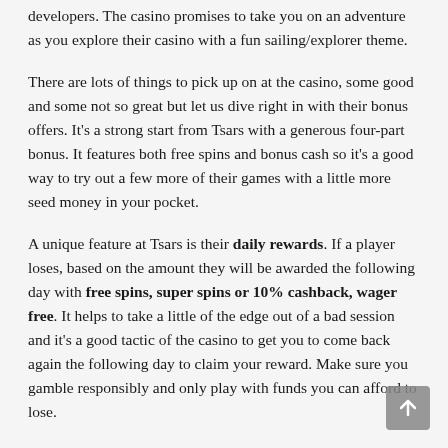developers. The casino promises to take you on an adventure as you explore their casino with a fun sailing/explorer theme.
There are lots of things to pick up on at the casino, some good and some not so great but let us dive right in with their bonus offers. It's a strong start from Tsars with a generous four-part bonus. It features both free spins and bonus cash so it's a good way to try out a few more of their games with a little more seed money in your pocket.
A unique feature at Tsars is their daily rewards. If a player loses, based on the amount they will be awarded the following day with free spins, super spins or 10% cashback, wager free. It helps to take a little of the edge out of a bad session and it's a good tactic of the casino to get you to come back again the following day to claim your reward. Make sure you gamble responsibly and only play with funds you can afford to lose.
On the flip side and a little more frustrating is that the casino has a high turnover on all deposits. If you make a deposit, you will need to play through your funds at least 3x if you are...